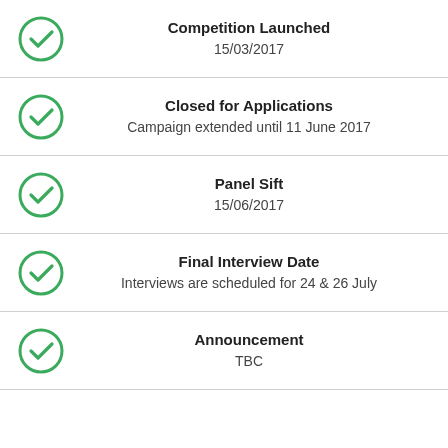Competition Launched
15/03/2017
Closed for Applications
Campaign extended until 11 June 2017
Panel Sift
15/06/2017
Final Interview Date
Interviews are scheduled for 24 & 26 July
Announcement
TBC